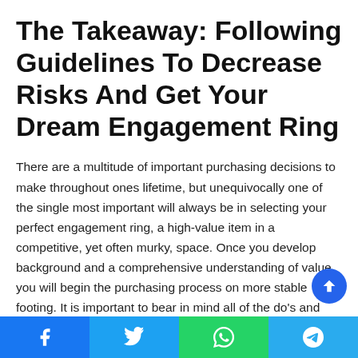The Takeaway: Following Guidelines To Decrease Risks And Get Your Dream Engagement Ring
There are a multitude of important purchasing decisions to make throughout ones lifetime, but unequivocally one of the single most important will always be in selecting your perfect engagement ring, a high-value item in a competitive, yet often murky, space. Once you develop background and a comprehensive understanding of value, you will begin the purchasing process on more stable footing. It is important to bear in mind all of the do's and don'ts of purchasing your engagement ring, taking into account common misconceptions